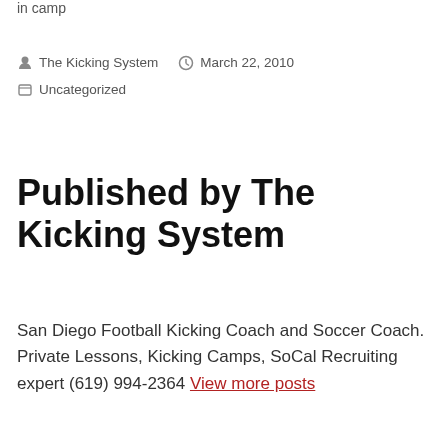in  camp
The Kicking System   March 22, 2010   Uncategorized
Published by The Kicking System
San Diego Football Kicking Coach and Soccer Coach. Private Lessons, Kicking Camps, SoCal Recruiting expert (619) 994-2364 View more posts